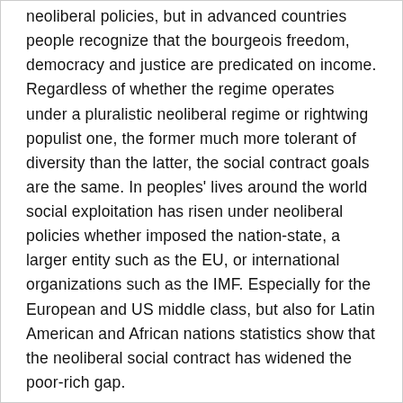neoliberal policies, but in advanced countries people recognize that the bourgeois freedom, democracy and justice are predicated on income. Regardless of whether the regime operates under a pluralistic neoliberal regime or rightwing populist one, the former much more tolerant of diversity than the latter, the social contract goals are the same. In peoples' lives around the world social exploitation has risen under neoliberal policies whether imposed the nation-state, a larger entity such as the EU, or international organizations such as the IMF. Especially for the European and US middle class, but also for Latin American and African nations statistics show that the neoliberal social contract has widened the poor-rich gap.